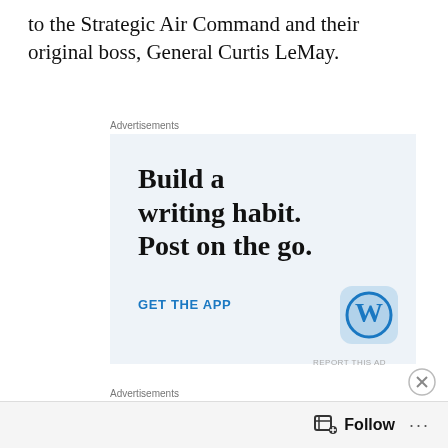to the Strategic Air Command and their original boss, General Curtis LeMay.
[Figure (infographic): WordPress advertisement: 'Build a writing habit. Post on the go.' with GET THE APP call to action and WordPress logo on light blue background, labeled 'Advertisements']
[Figure (infographic): Second advertisement strip showing cosmetic/beauty product images with SHOP label, labeled 'Advertisements']
[Figure (infographic): Footer bar with Follow button (bookmark icon) and ellipsis menu on grey background]